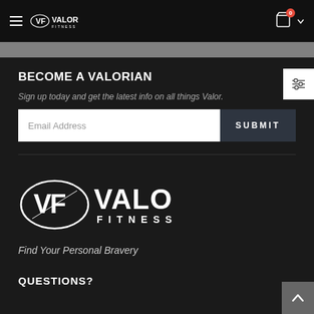Valor Fitness — Navigation header with hamburger menu, logo, cart (0), and chevron
BECOME A VALORIAN
Sign up today and get the latest info on all things Valor.
Email Address | SUBMIT
[Figure (logo): Valor Fitness logo: VF emblem inside an oval with VALOR FITNESS text]
Find Your Personal Bravery
QUESTIONS?